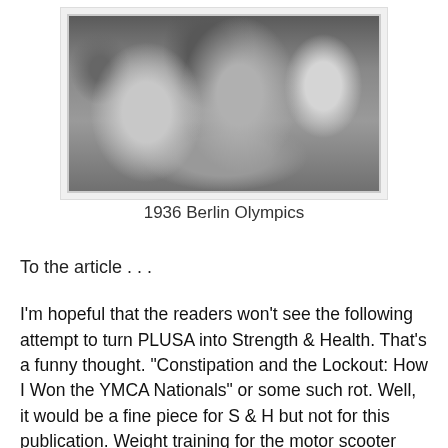[Figure (photo): Black and white photograph of athletes (wrestlers or weightlifters) at the 1936 Berlin Olympics, showing muscular men in close physical contact, possibly during weigh-in or preparation.]
1936 Berlin Olympics
To the article . . .
I'm hopeful that the readers won't see the following attempt to turn PLUSA into Strength & Health. That's a funny thought. "Constipation and the Lockout: How I Won the YMCA Nationals" or some such rot. Well, it would be a fine piece for S & H but not for this publication. Weight training for the motor scooter enthusiast is also not quite what's waited for monthly. However, I would like to relate a few